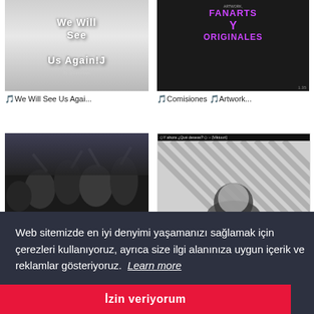[Figure (illustration): Thumbnail image: 'We Will See Us Again' text on silvery grey gradient background]
[Figure (illustration): Thumbnail image: Fanarts y Originales - purple text on dark background with cartoon character]
🎵We Will See Us Agai...
🎵Comisiones 🎵Artwork...
[Figure (illustration): Thumbnail image: anime scene with crowd of characters]
[Figure (screenshot): Thumbnail image: Y ahora ¿Qué deseas? - [Viktuuri] with diagonal striped background]
Web sitemizde en iyi denyimi yaşamanızı sağlamak için çerezleri kullanıyoruz, ayrıca size ilgi alanınıza uygun içerik ve reklamlar gösteriyoruz.  Learn more
İzin veriyorum